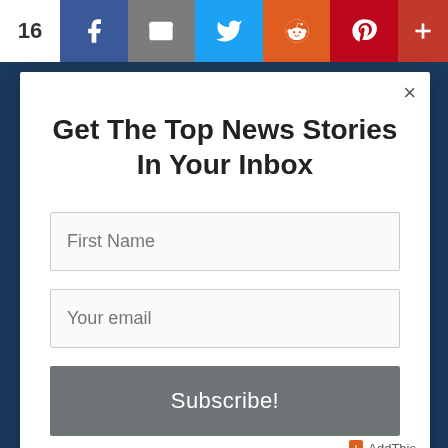[Figure (screenshot): Social sharing toolbar with share count '16' and icons for Facebook, email, Twitter, Reddit, Pinterest, and a plus/more button]
Get The Top News Stories In Your Inbox
[Figure (infographic): First Name text input field]
[Figure (infographic): Your email text input field]
[Figure (infographic): Subscribe! button]
AddThis